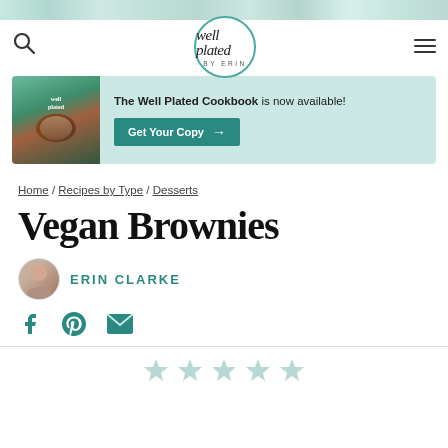[Figure (screenshot): Top decorative floral/colorful strip at the top of the page]
well plated BY ERIN — website header with search icon and hamburger menu
[Figure (illustration): Promotional banner for The Well Plated Cookbook with book image and teal 'Get Your Copy →' button. Text: The Well Plated Cookbook is now available!]
Home / Recipes by Type / Desserts
Vegan Brownies
ERIN CLARKE
[Figure (illustration): Social sharing icons: Facebook, Pinterest, Email (envelope)]
[Figure (illustration): Five empty/outline star rating icons in teal/light color at the bottom of the page]